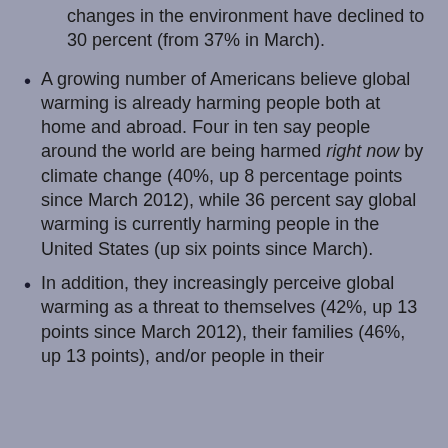changes in the environment have declined to 30 percent (from 37% in March).
A growing number of Americans believe global warming is already harming people both at home and abroad. Four in ten say people around the world are being harmed right now by climate change (40%, up 8 percentage points since March 2012), while 36 percent say global warming is currently harming people in the United States (up six points since March).
In addition, they increasingly perceive global warming as a threat to themselves (42%, up 13 points since March 2012), their families (46%, up 13 points), and/or people in their